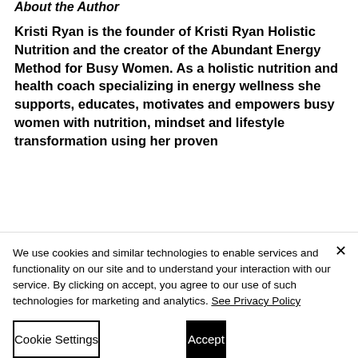About the Author
Kristi Ryan is the founder of Kristi Ryan Holistic Nutrition and the creator of the Abundant Energy Method for Busy Women. As a holistic nutrition and health coach specializing in energy wellness she supports, educates, motivates and empowers busy women with nutrition, mindset and lifestyle transformation using her proven
We use cookies and similar technologies to enable services and functionality on our site and to understand your interaction with our service. By clicking on accept, you agree to our use of such technologies for marketing and analytics. See Privacy Policy
Cookie Settings
Accept